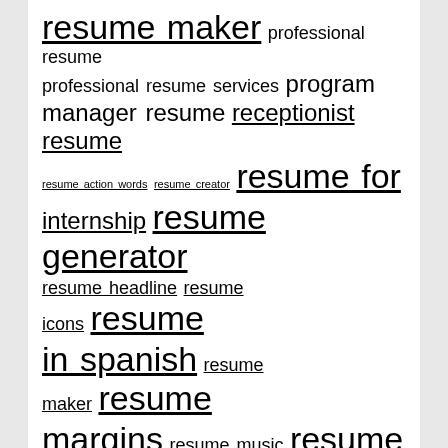resume maker professional resume professional resume services program manager resume receptionist resume resume action words resume creator resume for internship resume generator resume headline resume icons resume in spanish resume maker resume margins resume music resume objective statement resume outline resume pdf resume summary examples resume summary statement resume writing rn resume scrum